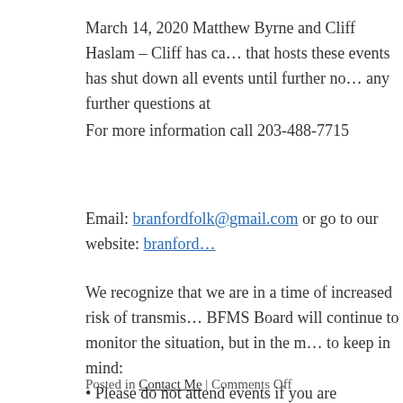March 14, 2020 Matthew Byrne and Cliff Haslam – Cliff has ca… that hosts these events has shut down all events until further no… any further questions at
For more information call 203-488-7715
Email: branfordfolk@gmail.com or go to our website: branford…
We recognize that we are in a time of increased risk of transmis… BFMS Board will continue to monitor the situation, but in the m… to keep in mind:
• Please do not attend events if you are experiencing symptoms… is compromised. Otherwise, we rely on individuals to decide wh… own heal…
Posted in Contact Me | Comments Off